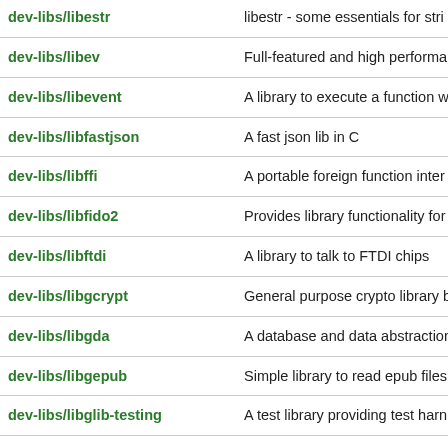| Package | Description |
| --- | --- |
| dev-libs/libestr | libestr - some essentials for stri |
| dev-libs/libev | Full-featured and high performa |
| dev-libs/libevent | A library to execute a function wh |
| dev-libs/libfastjson | A fast json lib in C |
| dev-libs/libffi | A portable foreign function inter |
| dev-libs/libfido2 | Provides library functionality for |
| dev-libs/libftdi | A library to talk to FTDI chips |
| dev-libs/libgcrypt | General purpose crypto library b |
| dev-libs/libgda | A database and data abstraction |
| dev-libs/libgepub | Simple library to read epub files |
| dev-libs/libglib-testing | A test library providing test harn |
| dev-libs/libglob | BSD glob(3) implementation with |
| dev-libs/libglynd | Vendor-neutral dispatch layer fo |